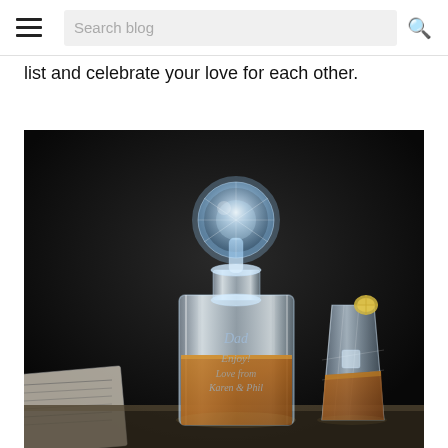Search blog
list and celebrate your love for each other.
[Figure (photo): A crystal glass whiskey decanter with a faceted ball stopper, engraved with 'Dad, Enjoy! Love from Karen & Phil', filled with amber whiskey. Behind it is a cut crystal whiskey glass with ice and a lemon slice. A folded newspaper is visible on the left side. Dark background.]